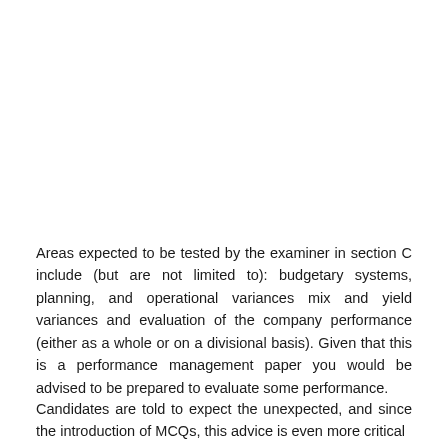Areas expected to be tested by the examiner in section C include (but are not limited to): budgetary systems, planning, and operational variances mix and yield variances and evaluation of the company performance (either as a whole or on a divisional basis). Given that this is a performance management paper you would be advised to be prepared to evaluate some performance.
Candidates are told to expect the unexpected, and since the introduction of MCQs, this advice is even more critical